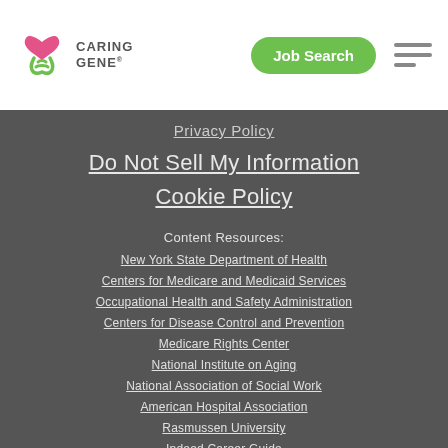Caring Gene — Job Search
Privacy Policy
Do Not Sell My Information
Cookie Policy
Content Resources:
New York State Department of Health
Centers for Medicare and Medicaid Services
Occupational Health and Safety Administration
Centers for Disease Control and Prevention
Medicare Rights Center
National Institute on Aging
National Association of Social Work
American Hospital Association
Rasmussen University
Indeed Career Guide